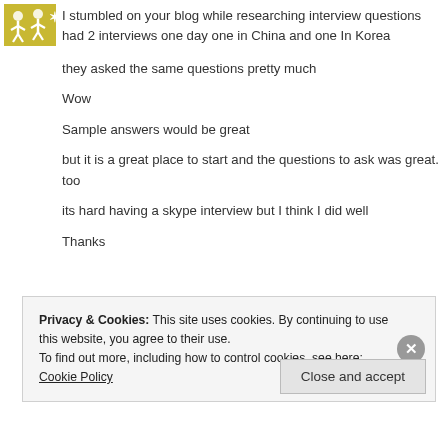[Figure (logo): Yellow/olive colored avatar icon with abstract figures]
I stumbled on your blog while researching interview questions had 2 interviews one day one in China and one In Korea

they asked the same questions pretty much

Wow

Sample answers would be great

but it is a great place to start and the questions to ask was great. too

its hard having a skype interview but I think I did well

Thanks
Privacy & Cookies: This site uses cookies. By continuing to use this website, you agree to their use.
To find out more, including how to control cookies, see here: Cookie Policy
Close and accept